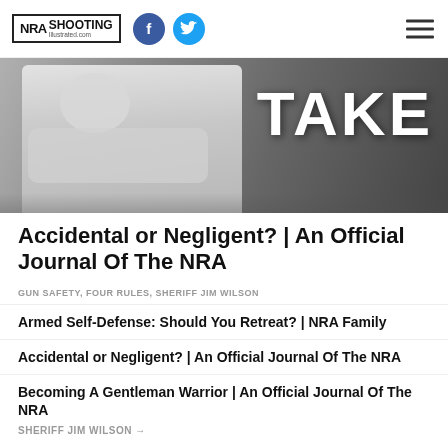NRA Shooting Illustrated | NRA Shooting Illustrated .com
[Figure (photo): Hero image showing a person with arms crossed in a white shirt, with large text 'TAKE' overlaid on a dark background with a waterfall or rain effect]
Accidental or Negligent? | An Official Journal Of The NRA
GUN SAFETY, FOUR RULES, SHERIFF JIM WILSON
Armed Self-Defense: Should You Retreat? | NRA Family
Accidental or Negligent? | An Official Journal Of The NRA
Becoming A Gentleman Warrior | An Official Journal Of The NRA
SHERIFF JIM WILSON →